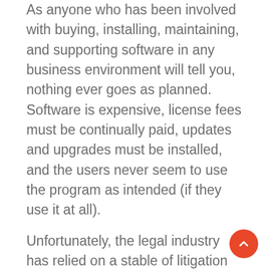As anyone who has been involved with buying, installing, maintaining, and supporting software in any business environment will tell you, nothing ever goes as planned. Software is expensive, license fees must be continually paid, updates and upgrades must be installed, and the users never seem to use the program as intended (if they use it at all).
Unfortunately, the legal industry has relied on a stable of litigation warhorses (Summation, Concordance, and a lot of other long-in-the-tooth programs) that are incredibly expensive and difficult programs to